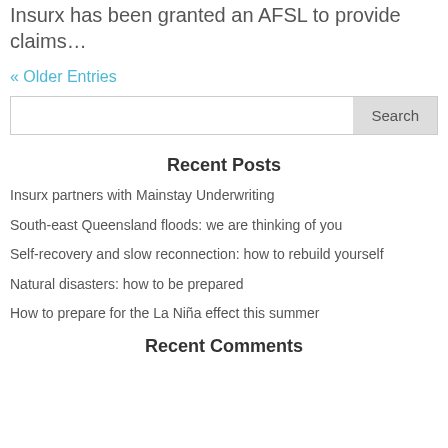Insurx has been granted an AFSL to provide claims…
« Older Entries
Recent Posts
Insurx partners with Mainstay Underwriting
South-east Queensland floods: we are thinking of you
Self-recovery and slow reconnection: how to rebuild yourself
Natural disasters: how to be prepared
How to prepare for the La Niña effect this summer
Recent Comments